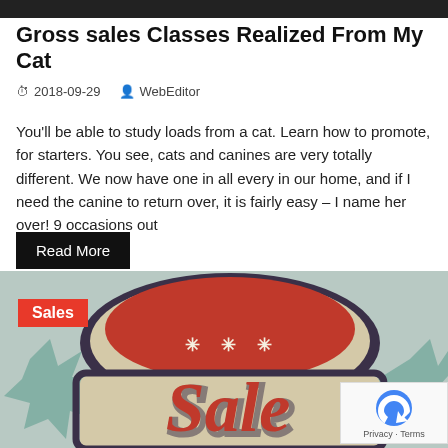Gross sales Classes Realized From My Cat
2018-09-29   WebEditor
You'll be able to study loads from a cat. Learn how to promote, for starters. You see, cats and canines are very totally different. We now have one in all every in our home, and if I need the canine to return over, it is fairly easy – I name her over! 9 occasions out
Read More
[Figure (illustration): Sale promotional graphic with large red 'Sale' text on a retro-style badge with dark outline and beige/cream background, with three asterisks at the top. Teal star shapes visible on sides. A red 'Sales' badge overlaid in the top-left corner.]